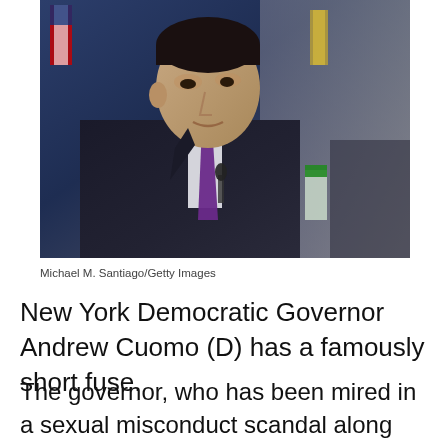[Figure (photo): Photo of New York Governor Andrew Cuomo in a dark suit with a purple tie, looking to the side, with an American flag and a green water bottle visible in the background at what appears to be a press conference or official event.]
Michael M. Santiago/Getty Images
New York Democratic Governor Andrew Cuomo (D) has a famously short fuse.
The governor, who has been mired in a sexual misconduct scandal along with a probe into how he handled nursing homes during the early days of the COVID-19